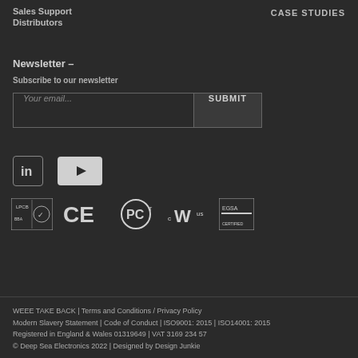Sales Support
Distributors
CASE STUDIES
Newsletter –
Subscribe to our newsletter
Your email...
SUBMIT
[Figure (logo): LinkedIn icon - square with 'in' text]
[Figure (logo): YouTube icon - white rectangle with play triangle]
[Figure (logo): Certification logos: LPCB/BBA, CE, EAC, cULus, EGSA]
WEEE TAKE BACK | Terms and Conditions / Privacy Policy Modern Slavery Statement | Code of Conduct | ISO9001: 2015 | ISO14001: 2015 Registered in England & Wales 01319649 | VAT 3169 234 57 © Deep Sea Electronics 2022 | Designed by Design Junkie